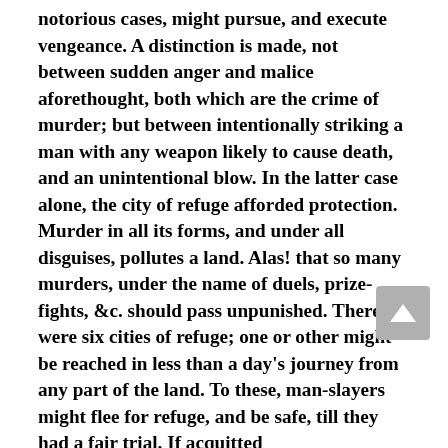notorious cases, might pursue, and execute vengeance. A distinction is made, not between sudden anger and malice aforethought, both which are the crime of murder; but between intentionally striking a man with any weapon likely to cause death, and an unintentional blow. In the latter case alone, the city of refuge afforded protection. Murder in all its forms, and under all disguises, pollutes a land. Alas! that so many murders, under the name of duels, prize-fights, &c. should pass unpunished. There were six cities of refuge; one or other might be reached in less than a day's journey from any part of the land. To these, man-slayers might flee for refuge, and be safe, till they had a fair trial. If acquitted from the charge, they were protected